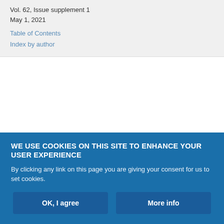Vol. 62, Issue supplement 1
May 1, 2021
Table of Contents
Index by author
WE USE COOKIES ON THIS SITE TO ENHANCE YOUR USER EXPERIENCE
By clicking any link on this page you are giving your consent for us to set cookies.
OK, I agree
More info